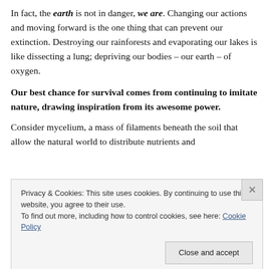In fact, the earth is not in danger, we are. Changing our actions and moving forward is the one thing that can prevent our extinction. Destroying our rainforests and evaporating our lakes is like dissecting a lung; depriving our bodies – our earth – of oxygen.
Our best chance for survival comes from continuing to imitate nature, drawing inspiration from its awesome power.
Consider mycelium, a mass of filaments beneath the soil that allow the natural world to distribute nutrients and
Privacy & Cookies: This site uses cookies. By continuing to use this website, you agree to their use.
To find out more, including how to control cookies, see here: Cookie Policy